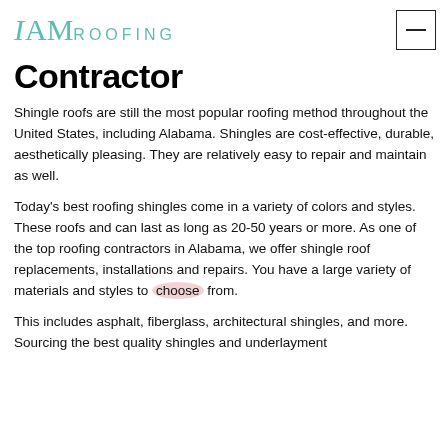IAM ROOFING
Contractor
Shingle roofs are still the most popular roofing method throughout the United States, including Alabama. Shingles are cost-effective, durable, aesthetically pleasing. They are relatively easy to repair and maintain as well.
Today's best roofing shingles come in a variety of colors and styles. These roofs and can last as long as 20-50 years or more. As one of the top roofing contractors in Alabama, we offer shingle roof replacements, installations and repairs. You have a large variety of materials and styles to choose from.
This includes asphalt, fiberglass, architectural shingles, and more. Sourcing the best quality shingles and underlayment